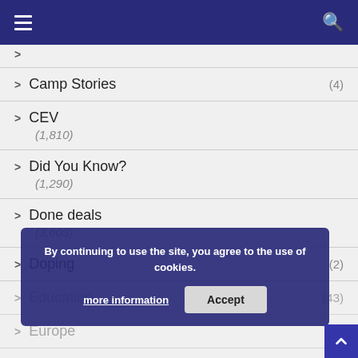Navigation menu with hamburger and search icons
Camp Stories (4)
CEV (1,810)
Did You Know? (1,290)
Done deals (3,603)
Doping (2)
Education (43)
Europe (7)
By continuing to use the site, you agree to the use of cookies. more information | Accept